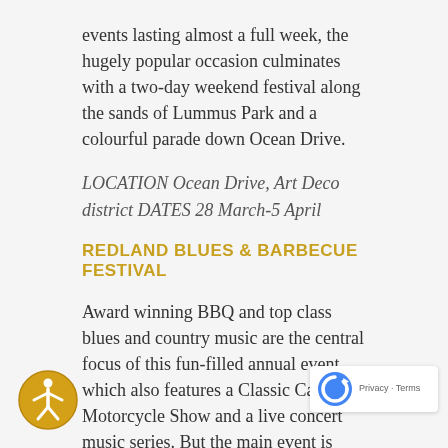events lasting almost a full week, the hugely popular occasion culminates with a two-day weekend festival along the sands of Lummus Park and a colourful parade down Ocean Drive.
LOCATION Ocean Drive, Art Deco district DATES 28 March-5 April
REDLAND BLUES & BARBECUE FESTIVAL
Award winning BBQ and top class blues and country music are the central focus of this fun-filled annual event, which also features a Classic Car and Motorcycle Show and a live concert music series. But the main event is without doubt the food, which sees grillmasters cooking up delectable ribs, brisket and chicken, plus seafood fritters and other foodie treats to ensure no-one goes home hungry.